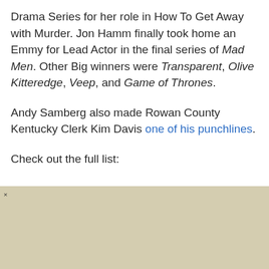Drama Series for her role in How To Get Away with Murder. Jon Hamm finally took home an Emmy for Lead Actor in the final series of Mad Men. Other Big winners were Transparent, Olive Kitteredge, Veep, and Game of Thrones.
Andy Samberg also made Rowan County Kentucky Clerk Kim Davis one of his punchlines.
Check out the full list: